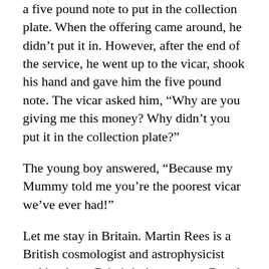a five pound note to put in the collection plate. When the offering came around, he didn't put it in. However, after the end of the service, he went up to the vicar, shook his hand and gave him the five pound note. The vicar asked him, “Why are you giving me this money? Why didn't you put it in the collection plate?”
The young boy answered, “Because my Mummy told me you’re the poorest vicar we’ve ever had!”
Let me stay in Britain. Martin Rees is a British cosmologist and astrophysicist and has been Britain’s Astronomer Royal since 1995.
Sir Martin Rees, indeed Lord Rees as he is now, has been Master of Trinity College, Cambridge since 2004 and was President of the Royal Society